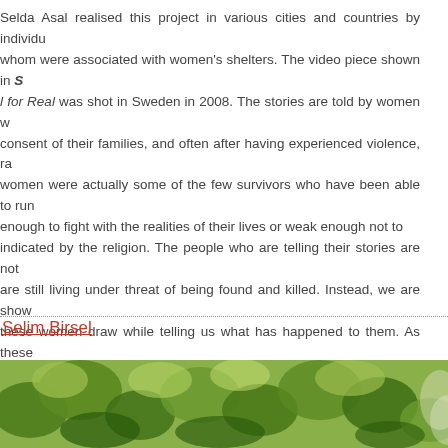Selda Asal realised this project in various cities and countries by individu whom were associated with women's shelters. The video piece shown in S l for Real was shot in Sweden in 2008. The stories are told by women w consent of their families, and often after having experienced violence, ra women were actually some of the few survivors who have been able to run enough to fight with the realities of their lives or weak enough not to indicated by the religion. The people who are telling their stories are not are still living under threat of being found and killed. Instead, we are show these women draw while telling us what has happened to them. As thes dreadful experiences, Selda Asal amplifies them by means of strong soun and other similar sentiments are represented through this sound more tha content of their dreadful stories. The tension between the freedom of bei caught again, and killed, is made palpable to the viewer.
Selim Birsel
[Figure (photo): Photo of green leafy tree branches/foliage against a light background]